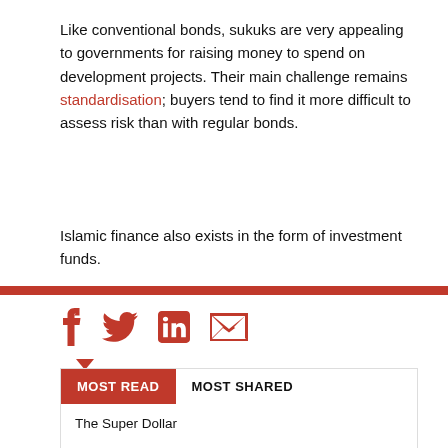Like conventional bonds, sukuks are very appealing to governments for raising money to spend on development projects. Their main challenge remains standardisation; buyers tend to find it more difficult to assess risk than with regular bonds.
Islamic finance also exists in the form of investment funds.
[Figure (infographic): Social sharing icons: Facebook, Twitter, LinkedIn, Email — all in red]
MOST READ | MOST SHARED
The Super Dollar
Banks Expand Digital Corporate Finance
Unbowed By Sanctions, Russia Claims No-Fault Default
Globalization's New Puzzle